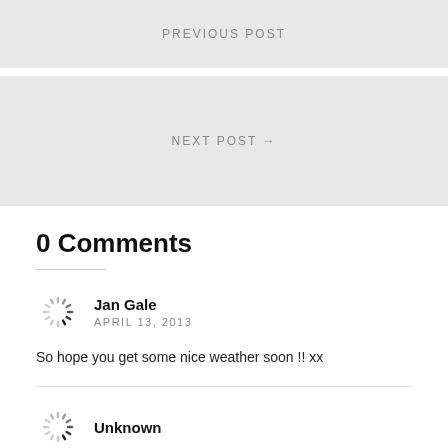PREVIOUS POST
NEXT POST →
0 Comments
Jan Gale
APRIL 13, 2013
So hope you get some nice weather soon !! xx
Unknown